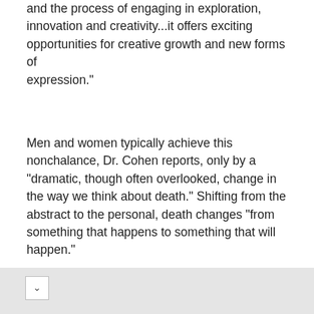and the process of engaging in exploration, innovation and creativity...it offers exciting opportunities for creative growth and new forms of expression."
Men and women typically achieve this nonchalance, Dr. Cohen reports, only by a "dramatic, though often overlooked, change in the way we think about death." Shifting from the abstract to the personal, death changes "from something that happens to something that will happen."
Shifting from the abstract to the personal, death changes "from something that happens to